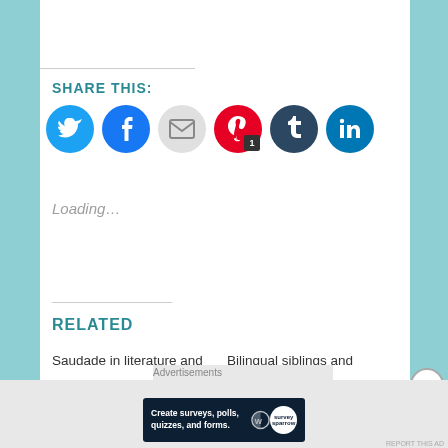SHARE THIS:
[Figure (infographic): Social sharing icon buttons: Twitter (blue), Facebook (blue), Email (gray), Pinterest (red, badge '1'), Tumblr (dark blue), LinkedIn (blue)]
Loading...
RELATED
Saudade in literature and
Bilingual siblings and their
[Figure (screenshot): Advertisement banner: 'Create surveys, polls, quizzes, and forms.' with WordPress and SurveySparrow logos on dark navy background]
Advertisements